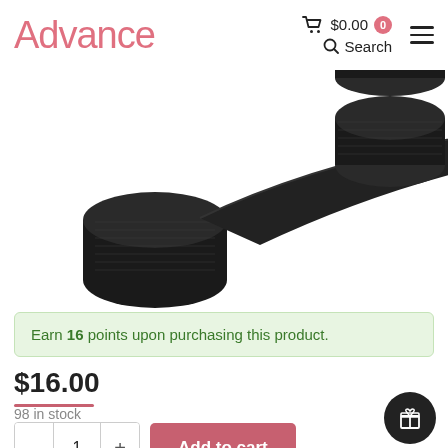Advance | $0.00 0 | Search
[Figure (photo): Product photo showing rolls of black mesh/fabric tape, with one roll unrolled showing the material texture.]
Earn 16 points upon purchasing this product.
$16.00
98 in stock
- 1 + Add to cart
Use up to 1600 points to purchase this product!